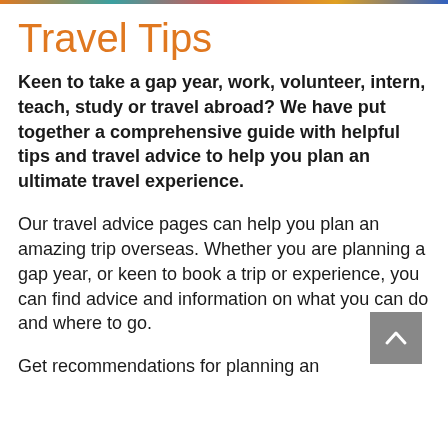Travel Tips
Keen to take a gap year, work, volunteer, intern, teach, study or travel abroad? We have put together a comprehensive guide with helpful tips and travel advice to help you plan an ultimate travel experience.
Our travel advice pages can help you plan an amazing trip overseas. Whether you are planning a gap year, or keen to book a trip or experience, you can find advice and information on what you can do and where to go.
Get recommendations for planning an